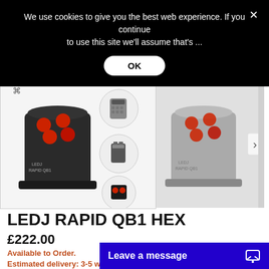We use cookies to give you the best web experience. If you continue to use this site we'll assume that's ...
OK
[Figure (photo): Product photo of LEDJ RAPID QB1 HEX lighting device in black with red LEDs, plus accessory thumbnails including a remote, battery pack, and another view]
[Figure (photo): Second product photo of LEDJ RAPID QB1 HEX in grey with red LEDs]
LEDJ RAPID QB1 HEX
£222.00
Available to Order.
Estimated delivery: 3-5 wo...
Leave a message